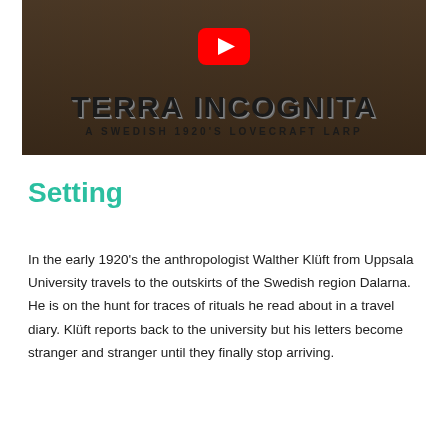[Figure (screenshot): YouTube video thumbnail for 'Terra Incognita – A Swedish 1920's Lovecraft Larp'. Shows a sepia-toned group photograph of people in early 20th century clothing. A large red YouTube play button is centered in the upper portion. Bold text reads 'TERRA INCOGNITA' and below it 'A SWEDISH 1920'S LOVECRAFT LARP'.]
Setting
In the early 1920's the anthropologist Walther Klüft from Uppsala University travels to the outskirts of the Swedish region Dalarna. He is on the hunt for traces of rituals he read about in a travel diary. Klüft reports back to the university but his letters become stranger and stranger until they finally stop arriving.